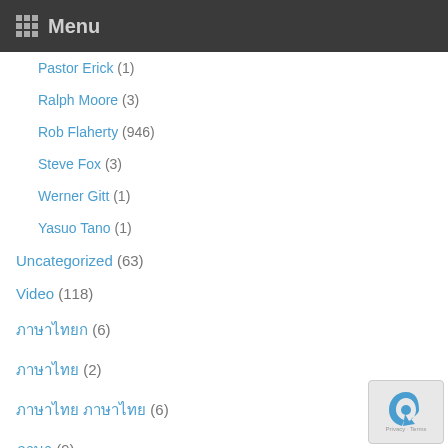Menu
Pastor Erick (1)
Ralph Moore (3)
Rob Flaherty (946)
Steve Fox (3)
Werner Gitt (1)
Yasuo Tano (1)
Uncategorized (63)
Video (118)
ภาษาไทยก (6)
ภาษาไทย (2)
ภาษาไทย ภาษาไทย (6)
ภาษา (9)
ภาษาไ (1)
ภาษ (1)